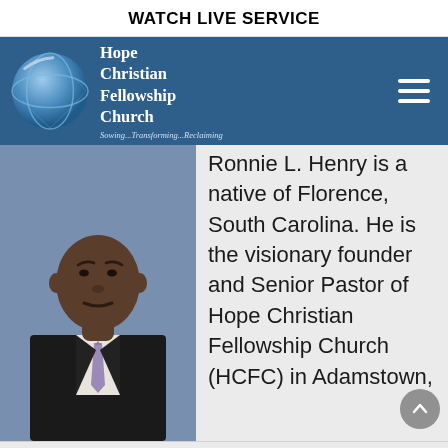WATCH LIVE SERVICE
[Figure (logo): Hope Christian Fellowship Church logo with globe graphic and text 'Sowing...Transforming...Reclaiming']
[Figure (photo): Portrait photo of Ronnie L. Henry, a man in a black suit with a purple/lavender tie, against a blue background]
Ronnie L. Henry is a native of Florence, South Carolina. He is the visionary founder and Senior Pastor of Hope Christian Fellowship Church (HCFC) in Adamstown,